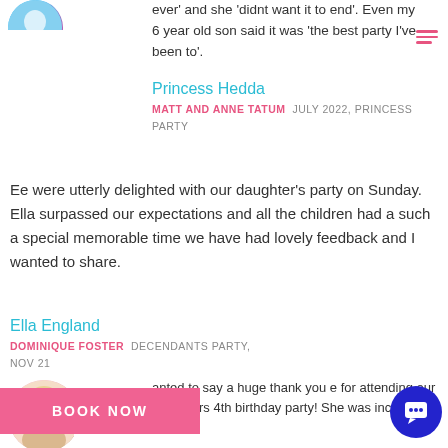ever' and she 'didnt want it to end'. Even my 6 year old son said it was 'the best party I've been to'.
Princess Hedda
MATT AND ANNE TATUM  JULY 2022, PRINCESS PARTY
Ee were utterly delighted with our daughter's party on Sunday. Ella surpassed our expectations and all the children had a such a special memorable time we have had lovely feedback and I wanted to share.
Ella England
DOMINIQUE FOSTER  DECENDANTS PARTY, NOV 21
anted to say a huge thank you e for attending our daughters 4th birthday party! She was incredible!! The
BOOK NOW